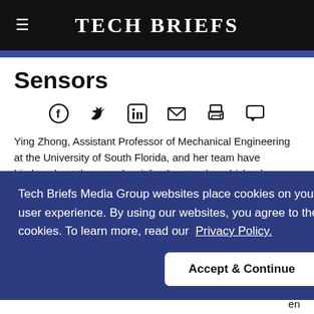TECH BRIEFS
Sensors
[Figure (other): Social sharing icons row: Facebook, Twitter, LinkedIn, Email, Print, Comment]
Ying Zhong, Assistant Professor of Mechanical Engineering at the University of South Florida, and her team have invented a [new type of sensors]. They [use] force [sensors]. [Some text partially obscured by cookie overlay] were [given] with binders, heat them, and wait for them to dry, which takes a long
Tech Briefs Media Group websites place cookies on your device to give you the best user experience. By using our websites, you agree to the placement of these cookies. To learn more, read our Privacy Policy.
Accept & Continue